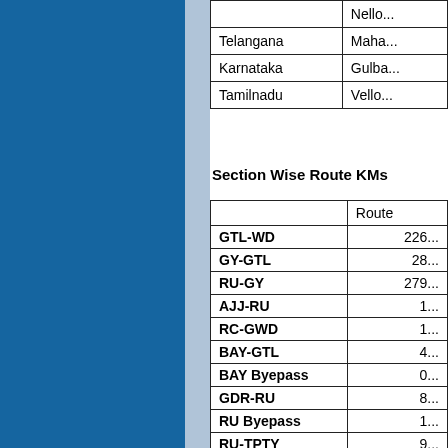|  |  |
| --- | --- |
|  | Nello... |
| Telangana | Maha... |
| Karnataka | Gulba... |
| Tamilnadu | Vello... |
Section Wise Route KMs
|  | Route |
| --- | --- |
| GTL-WD | 226... |
| GY-GTL | 28... |
| RU-GY | 279... |
| AJJ-RU | 1... |
| RC-GWD | 1... |
| BAY-GTL | 4... |
| BAY Byepass | 0... |
| GDR-RU | 8... |
| RU Byepass | 1... |
| RU-TPTY | 9... |
| DHNE-GTL | 69... |
| GY-PDL | 29.... |